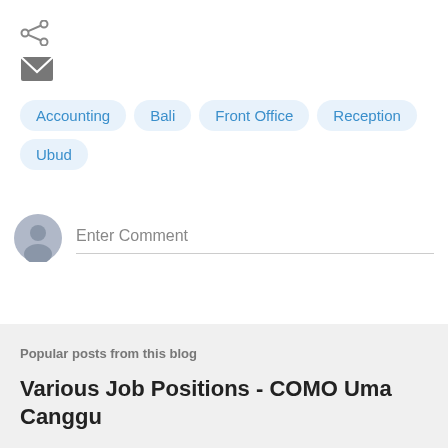[Figure (other): Share icon (three connected dots/nodes)]
[Figure (other): Email/envelope icon]
Accounting
Bali
Front Office
Reception
Ubud
[Figure (other): User avatar placeholder circle]
Enter Comment
Popular posts from this blog
Various Job Positions - COMO Uma Canggu